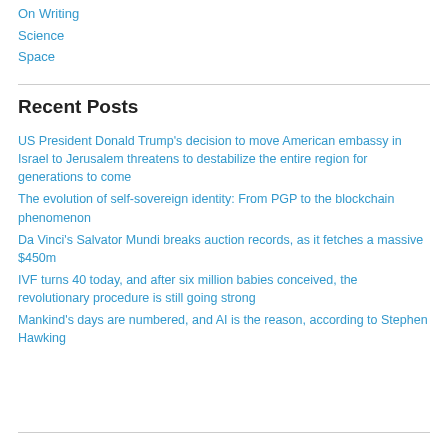On Writing
Science
Space
Recent Posts
US President Donald Trump's decision to move American embassy in Israel to Jerusalem threatens to destabilize the entire region for generations to come
The evolution of self-sovereign identity: From PGP to the blockchain phenomenon
Da Vinci's Salvator Mundi breaks auction records, as it fetches a massive $450m
IVF turns 40 today, and after six million babies conceived, the revolutionary procedure is still going strong
Mankind's days are numbered, and AI is the reason, according to Stephen Hawking